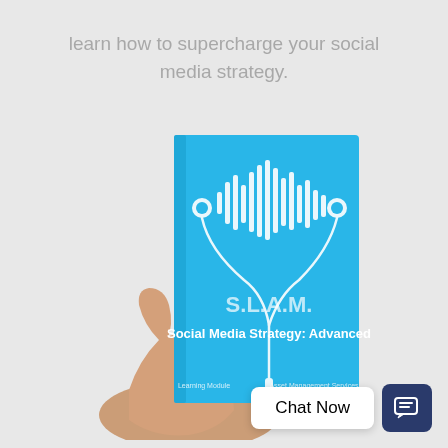learn how to supercharge your social media strategy.
[Figure (photo): A hand holding a cyan/blue book titled 'S.L.A.M. Social Media Strategy: Advanced' with earbuds and sound wave illustration on the cover. Text at bottom reads 'Learning Module' and 'Asset Management Services'.]
Chat Now